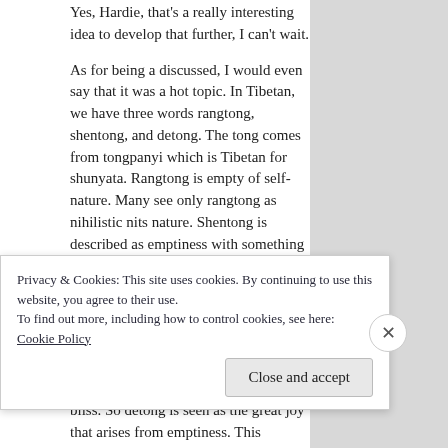Yes, Hardie, that's a really interesting idea to develop that further, I can't wait.
As for being a discussed, I would even say that it was a hot topic. In Tibetan, we have three words rangtong, shentong, and detong. The tong comes from tongpanyi which is Tibetan for shunyata. Rangtong is empty of self-nature. Many see only rangtong as nihilistic nits nature. Shentong is described as emptiness with something on top. The idea here was that because it could be experienced that the experience was part of reality. This was debated as being materialistic.
Detong is also very interesting. De comes from Dewa and means great bliss. So detong is seen as the great joy that arises from emptiness. This
Privacy & Cookies: This site uses cookies. By continuing to use this website, you agree to their use.
To find out more, including how to control cookies, see here: Cookie Policy
Close and accept